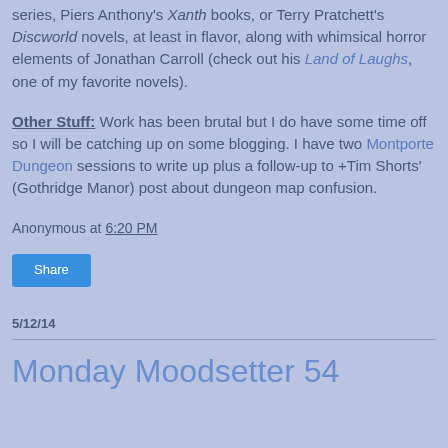series, Piers Anthony's Xanth books, or Terry Pratchett's Discworld novels, at least in flavor, along with whimsical horror elements of Jonathan Carroll (check out his Land of Laughs, one of my favorite novels).
Other Stuff: Work has been brutal but I do have some time off so I will be catching up on some blogging. I have two Montporte Dungeon sessions to write up plus a follow-up to +Tim Shorts' (Gothridge Manor) post about dungeon map confusion.
Anonymous at 6:20 PM
Share
5/12/14
Monday Moodsetter 54